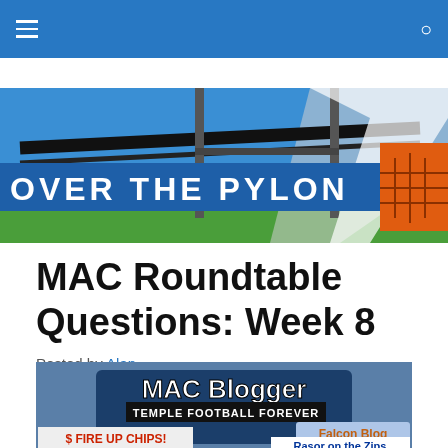Navigation bar with hamburger menu and search icon
[Figure (illustration): Over The Pylon banner logo — football field goalpost graphic with blue background and orange pylon, white text reading OVER THE PYLON]
MAC Roundtable Questions: Week 8
Posted by Alan
[Figure (illustration): MAC Blogger collage image showing multiple blog logos: Temple Football Forever, Falcon Blog, Fire Up Chips!, Rasor on the Zips]